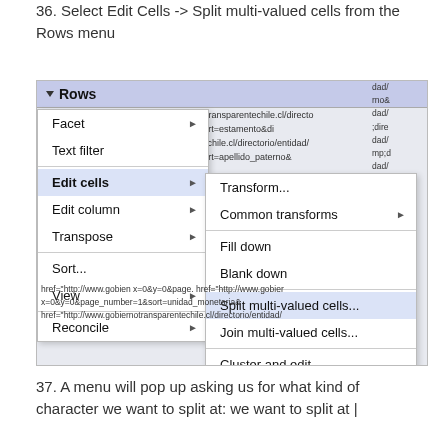36. Select Edit Cells -> Split multi-valued cells from the Rows menu
[Figure (screenshot): Screenshot of OpenRefine Rows dropdown menu with submenu showing Edit cells > Split multi-valued cells... highlighted in blue]
37. A menu will pop up asking us for what kind of character we want to split at: we want to split at |